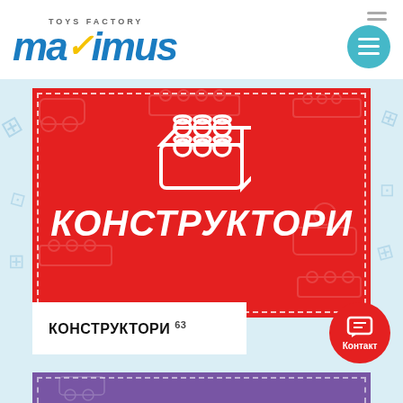[Figure (logo): Maximus Toys Factory logo — stylized bold italic blue text 'maximus' with yellow accent on 'a', and 'TOYS FACTORY' text above]
[Figure (illustration): Red banner with dashed white border containing a white LEGO brick icon and bold white Cyrillic text 'КОНСТРУКТОРИ' (Constructors)]
КОНСТРУКТОРИ 63
[Figure (illustration): Purple banner section at bottom, partially visible]
Контакт